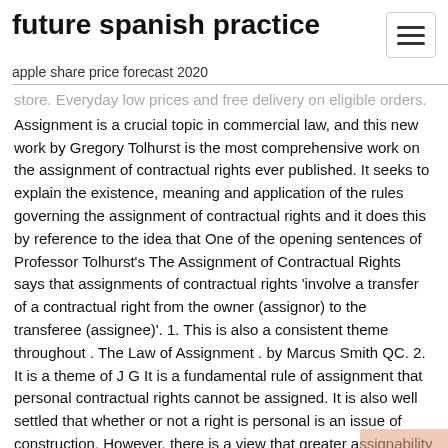future spanish practice
apple share price forecast 2020
Assignment is a crucial topic in commercial law, and this new work by Gregory Tolhurst is the most comprehensive work on the assignment of contractual rights ever published. It seeks to explain the existence, meaning and application of the rules governing the assignment of contractual rights and it does this by reference to the idea that One of the opening sentences of Professor Tolhurst's The Assignment of Contractual Rights says that assignments of contractual rights 'involve a transfer of a contractual right from the owner (assignor) to the transferee (assignee)'. 1. This is also a consistent theme throughout . The Law of Assignment . by Marcus Smith QC. 2. It is a theme of J G It is a fundamental rule of assignment that personal contractual rights cannot be assigned. It is also well settled that whether or not a right is personal is an issue of construction. However, there is a view that greater assignability should be fostered by doing away with the personal rights rule and allowing a right to